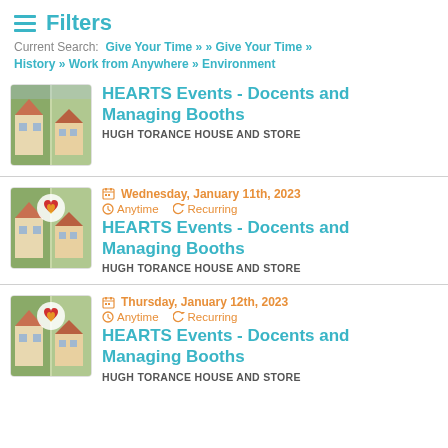Filters
Current Search: Give Your Time » » Give Your Time » History » Work from Anywhere » Environment
HEARTS Events - Docents and Managing Booths
HUGH TORANCE HOUSE AND STORE
Wednesday, January 11th, 2023
Anytime  Recurring
HEARTS Events - Docents and Managing Booths
HUGH TORANCE HOUSE AND STORE
Thursday, January 12th, 2023
Anytime  Recurring
HEARTS Events - Docents and Managing Booths
HUGH TORANCE HOUSE AND STORE